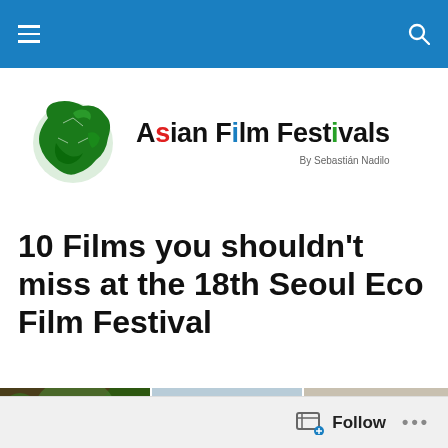Asian Film Festivals — navigation bar
[Figure (logo): Asian Film Festivals website logo with green Asia map silhouette and colored letters: red 's', blue 'i', green 'i' in the title text]
By Sebastián Nadilo
10 Films you shouldn't miss at the 18th Seoul Eco Film Festival
[Figure (photo): Three side-by-side film stills: left shows a person in forest/nature setting, center shows a lone tree on water with a ship in background, right shows a black and white cat on a couch]
Follow  •••